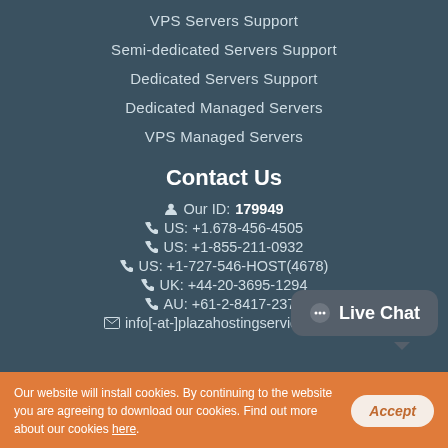VPS Servers Support
Semi-dedicated Servers Support
Dedicated Servers Support
Dedicated Managed Servers
VPS Managed Servers
Contact Us
Our ID: 179949
US: +1.678-456-4505
US: +1-855-211-0932
US: +1-727-546-HOST(4678)
UK: +44-20-3695-1294
AU: +61-2-8417-2372
info[-at-]plazahostingservices.com
Live Chat
Our website will install cookies. By continuing to the website you are agreeing to download our cookies. Find out more about our cookies here.